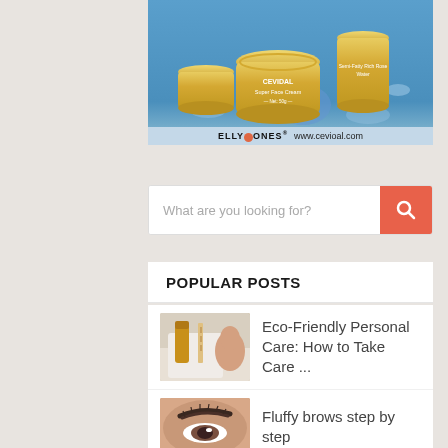[Figure (photo): Advertisement for CEVIDAL Super Face Cream skincare products — gold jars on blue water background]
ELLYJONES® www.cevioal.com
What are you looking for?
POPULAR POSTS
[Figure (photo): Eco-friendly personal care products on a white surface]
Eco-Friendly Personal Care: How to Take Care ...
[Figure (photo): Close-up of woman's face with fluffy brows]
Fluffy brows step by step